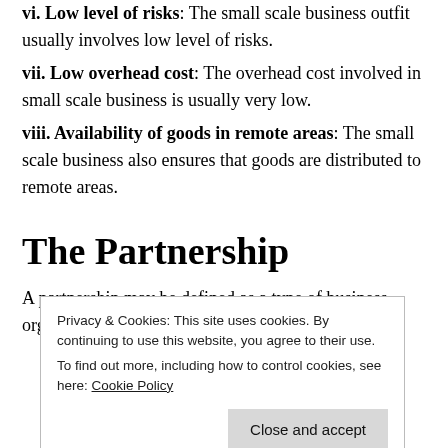vi. Low level of risks: The small scale business outfit usually involves low level of risks.
vii. Low overhead cost: The overhead cost involved in small scale business is usually very low.
viii. Availability of goods in remote areas: The small scale business also ensures that goods are distributed to remote areas.
The Partnership
A partnership may be defined as a type of business organisation in which two to twenty persons agree
Privacy & Cookies: This site uses cookies. By continuing to use this website, you agree to their use. To find out more, including how to control cookies, see here: Cookie Policy
Close and accept